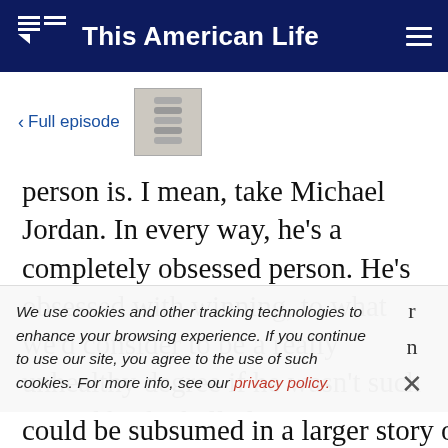This American Life
< Full episode
person is. I mean, take Michael Jordan. In every way, he's a completely obsessed person. He's obsessed with winning, to what we'd consider to be a really unhealthy degree if he wasn't such a good basketball player. I mean, it's just lucky that
We use cookies and other tracking technologies to enhance your browsing experience. If you continue to use our site, you agree to the use of such cookies. For more info, see our privacy policy.
could be subsumed in a larger story of heroism